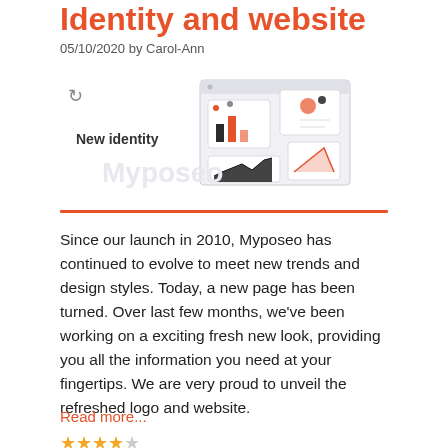Identity and website
05/10/2020 by Carol-Ann
[Figure (illustration): Dashboard analytics illustration showing browser windows with bar charts, line charts, and data visualizations. A loading icon and 'New identity' label appear on the left.]
Since our launch in 2010, Myposeo has continued to evolve to meet new trends and design styles. Today, a new page has been turned. Over last few months, we've been working on a exciting fresh new look, providing you all the information you need at your fingertips. We are very proud to unveil the refreshed logo and website.
Read more...